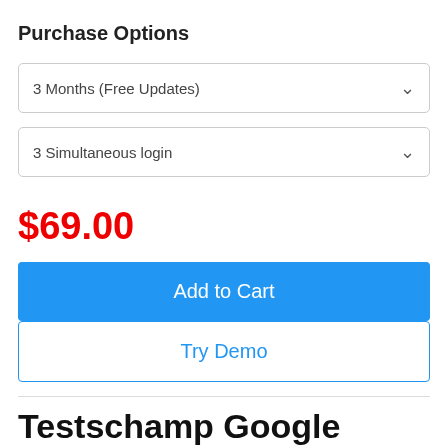Purchase Options
3 Months (Free Updates)
3 Simultaneous login
$69.00
Add to Cart
Try Demo
Testschamp Google Professional Cloud